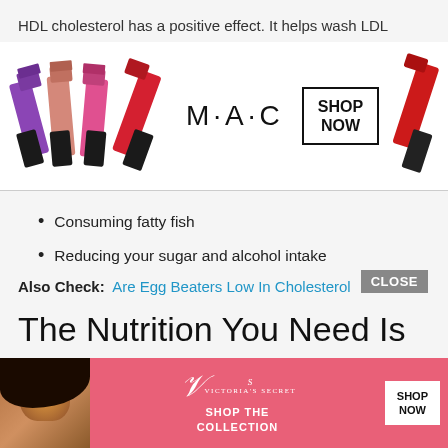HDL cholesterol has a positive effect. It helps wash LDL cholesterol out of your body to get rid of dangerous LDL of it before it builds up in your arterial walls.3If you want to eat to balance your cholesterol and keep levels healthy, your best bets are:
[Figure (photo): MAC Cosmetics advertisement banner with lipsticks in purple, pink tones and a SHOP NOW button]
Consuming fatty fish
Reducing your sugar and alcohol intake
Also Check:  Are Egg Beaters Low In Cholesterol
The Nutrition You Need Is In An Egg
[Figure (photo): Victoria's Secret advertisement banner with model, VS logo, SHOP THE COLLECTION text, and SHOP NOW button]
Before ... gg